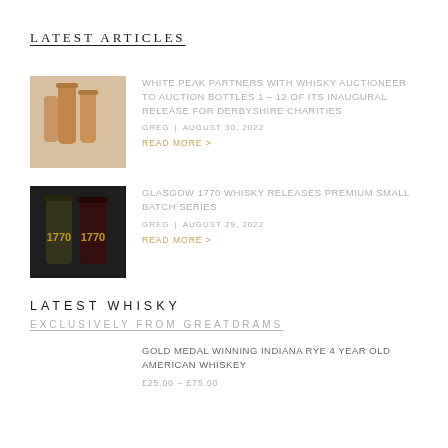LATEST ARTICLES
WHITE PEAK PARTNERS WITH WHISKY AUCTIONEER TO AUCTION BOTTLES 1 – 12 OF ITS INAUGURAL RELEASE FOR DERBYSHIRE CHARITIES
GREG | AUGUST 30, 2022
READ MORE >
[Figure (photo): Whisky bottles from White Peak distillery on light background]
GLASGOW 1770 WHISKY RELEASES PREMIUM SMALL BATCH SERIES
GREG | AUGUST 29, 2022
READ MORE >
[Figure (photo): Two Glasgow 1770 whisky bottles on dark background]
LATEST WHISKY
EXCLUSIVELY FROM GREATDRAMS
GOLD MEDAL WINNING INDIANA RYE 4 YEAR OLD AMERICAN WHISKEY
£25.00 – £75.00